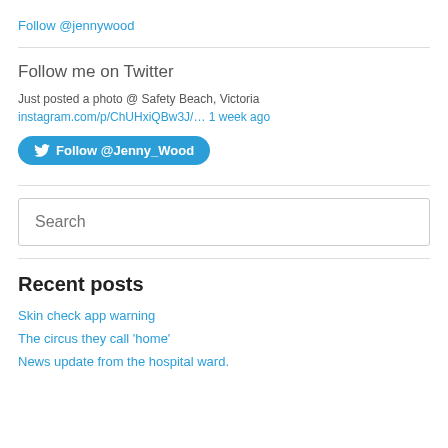Follow @jennywood
Follow me on Twitter
Just posted a photo @ Safety Beach, Victoria
instagram.com/p/ChUHxiQBw3J/… 1 week ago
Follow @Jenny_Wood
Search
Recent posts
Skin check app warning
The circus they call 'home'
News update from the hospital ward.